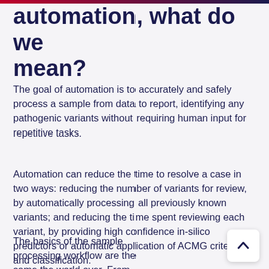automation, what do we mean?
The goal of automation is to accurately and safely process a sample from data to report, identifying any pathogenic variants without requiring human input for repetitive tasks.
Automation can reduce the time to resolve a case in two ways: reducing the number of variants for review, by automatically processing all previously known variants; and reducing the time spent reviewing each variant, by providing high confidence in-silico predictors or automatic application of ACMG criteria and classification.
The basics of the sample processing workflow are the same the world over. From data upload, familiarising yourself with the background of the case; to analyses, filtering the...